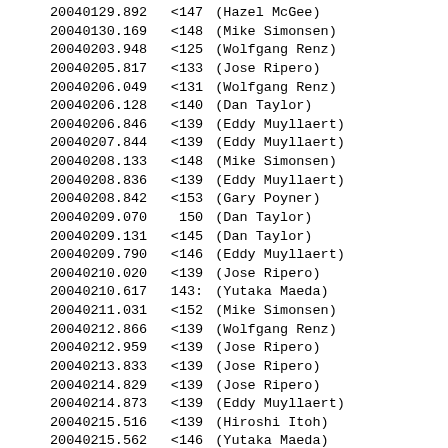| 20040129.892 | <147 | (Hazel McGee) |
| 20040130.169 | <148 | (Mike Simonsen) |
| 20040203.948 | <125 | (Wolfgang Renz) |
| 20040205.817 | <133 | (Jose Ripero) |
| 20040206.049 | <131 | (Wolfgang Renz) |
| 20040206.128 | <140 | (Dan Taylor) |
| 20040206.846 | <139 | (Eddy Muyllaert) |
| 20040207.844 | <139 | (Eddy Muyllaert) |
| 20040208.133 | <148 | (Mike Simonsen) |
| 20040208.836 | <139 | (Eddy Muyllaert) |
| 20040208.842 | <153 | (Gary Poyner) |
| 20040209.070 | 150 | (Dan Taylor) |
| 20040209.131 | <145 | (Dan Taylor) |
| 20040209.790 | <146 | (Eddy Muyllaert) |
| 20040210.020 | <139 | (Jose Ripero) |
| 20040210.617 | 143: | (Yutaka Maeda) |
| 20040211.031 | <152 | (Mike Simonsen) |
| 20040212.866 | <139 | (Wolfgang Renz) |
| 20040212.959 | <139 | (Jose Ripero) |
| 20040213.833 | <139 | (Jose Ripero) |
| 20040214.829 | <139 | (Jose Ripero) |
| 20040214.873 | <139 | (Eddy Muyllaert) |
| 20040215.516 | <139 | (Hiroshi Itoh) |
| 20040215.562 | <146 | (Yutaka Maeda) |
| 20040215.828 | <139 | (Jose Ripero) |
| 20040216.137 | <153 | (Mike Simonsen) |
| 20040216.639 | 152: | (Yutaka Maeda) |
| 20040216.869 | <139 | (Wolfgang Renz) |
| 20040216.936 | <146 | (Eddy Muyllaert) |
| 20040217.801 | 149 | (Georg Comello) |